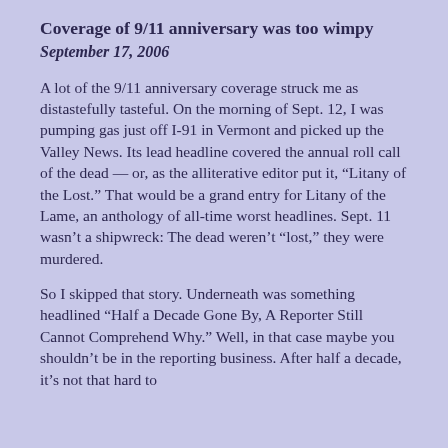Coverage of 9/11 anniversary was too wimpy
September 17, 2006
A lot of the 9/11 anniversary coverage struck me as distastefully tasteful. On the morning of Sept. 12, I was pumping gas just off I-91 in Vermont and picked up the Valley News. Its lead headline covered the annual roll call of the dead — or, as the alliterative editor put it, “Litany of the Lost.” That would be a grand entry for Litany of the Lame, an anthology of all-time worst headlines. Sept. 11 wasn’t a shipwreck: The dead weren’t “lost,” they were murdered.
So I skipped that story. Underneath was something headlined “Half a Decade Gone By, A Reporter Still Cannot Comprehend Why.” Well, in that case maybe you shouldn’t be in the reporting business. After half a decade, it’s not that hard to